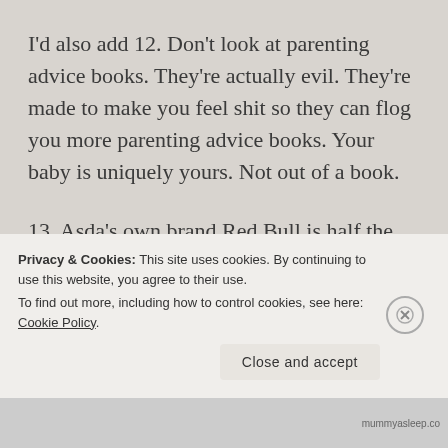I'd also add 12. Don't look at parenting advice books. They're actually evil. They're made to make you feel shit so they can flog you more parenting advice books. Your baby is uniquely yours. Not out of a book.
13. Asda's own brand Red Bull is half the cost of Red Bull.
14. Stockpile snag bol in your freezer.
Privacy & Cookies: This site uses cookies. By continuing to use this website, you agree to their use. To find out more, including how to control cookies, see here: Cookie Policy
Close and accept